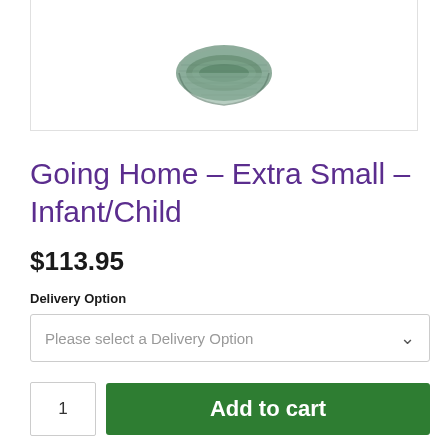[Figure (photo): Partial view of a decorative ceramic bowl, shown from above against a white background inside a bordered image container]
Going Home – Extra Small – Infant/Child
$113.95
Delivery Option
Please select a Delivery Option
1
Add to cart